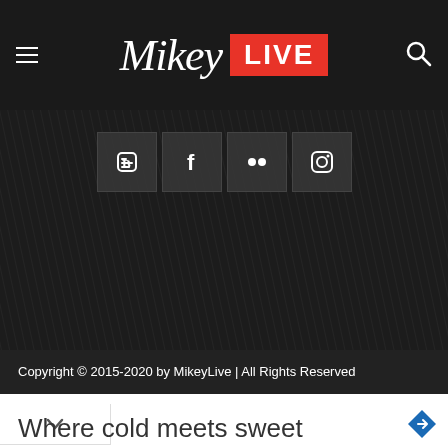Mikey LIVE
[Figure (logo): Mikey Live website header with hamburger menu on left, Mikey LIVE logo in center (Mikey in white italic script, LIVE in white bold on red background), and search icon on right]
[Figure (infographic): Social media icons row: Blogger (B), Facebook (f), Flickr (two dots), Instagram (camera) on dark background with diagonal line texture]
Copyright © 2015-2020 by MikeyLive | All Rights Reserved
Where cold meets sweet